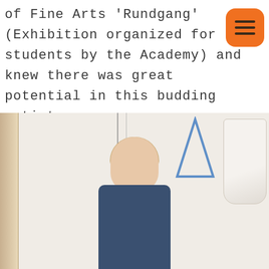of Fine Arts 'Rundgang' (Exhibition organized for the students by the Academy) and knew there was great potential in this budding artist. Today almost a year later we introduce to you the artists story and her works.
[Figure (photo): A young woman with blonde hair pulled back, wearing a dark blue t-shirt, sitting in a white-walled gallery space. On the left side a wooden/organic hanging sculpture, in the center transparent acrylic panels hanging vertically, and on the right a blue triangle artwork and a white fabric piece hanging on the wall.]